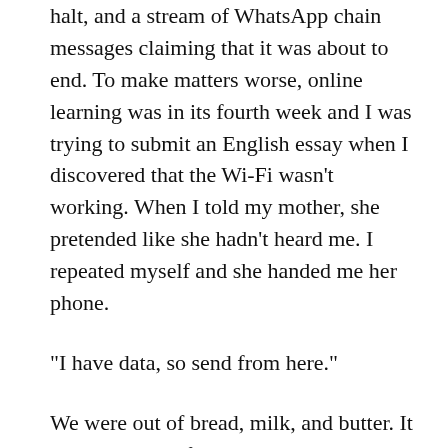halt, and a stream of WhatsApp chain messages claiming that it was about to end. To make matters worse, online learning was in its fourth week and I was trying to submit an English essay when I discovered that the Wi-Fi wasn't working. When I told my mother, she pretended like she hadn't heard me. I repeated myself and she handed me her phone.
“I have data, so send from here.”
We were out of bread, milk, and butter. It also seemed to fly past her when I mentioned it. I’d opened my mouth to repeat myself when she replied.
“The shops were out when I went yesterday. I was told the trucks got stuck at the South African border. They